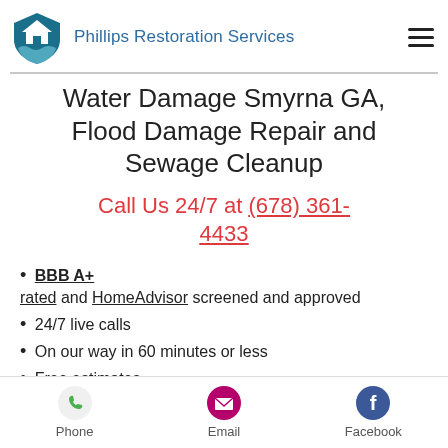Phillips Restoration Services
Water Damage Smyrna GA, Flood Damage Repair and Sewage Cleanup
Call Us 24/7 at (678) 361-4433
BBB A+ rated and HomeAdvisor screened and approved
24/7 live calls
On our way in 60 minutes or less
Free estimates
We bill directly to insurance and
Phone  Email  Facebook